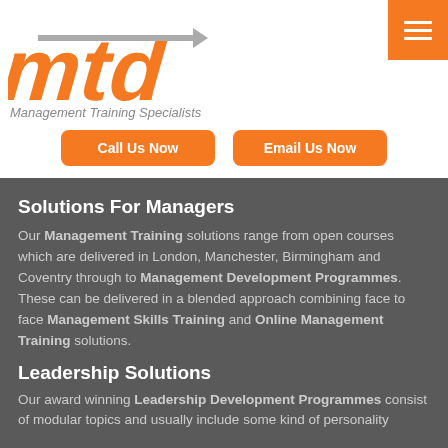[Figure (logo): MTD Management Training Specialists logo with orange stylized text and grey arrow]
[Figure (other): Orange hamburger menu button in top right corner]
Call Us Now
Email Us Now
Solutions For Managers
Our Management Training solutions range from open courses which are delivered in London, Manchester, Birmingham and Coventry through to Management Development Programmes. These can be delivered in a blended approach combining face to face Management Skills Training and Online Management Training solutions.
Leadership Solutions
Our award winning Leadership Development Programmes consist of modular topics and usually include some kind of personality